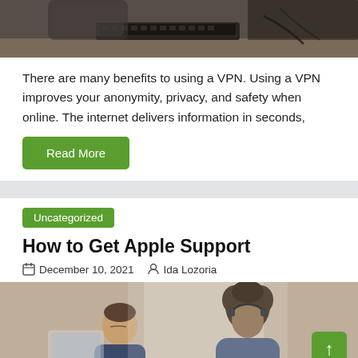[Figure (photo): Photo of a person typing on a keyboard at a desk, partially cropped at top]
There are many benefits to using a VPN. Using a VPN improves your anonymity, privacy, and safety when online. The internet delivers information in seconds,
Read More
Uncategorized
How to Get Apple Support
December 10, 2021   Ida Lozoria
[Figure (photo): Photo of two people, a woman with curly hair and a man, appearing to work together at a computer, customer support scenario]